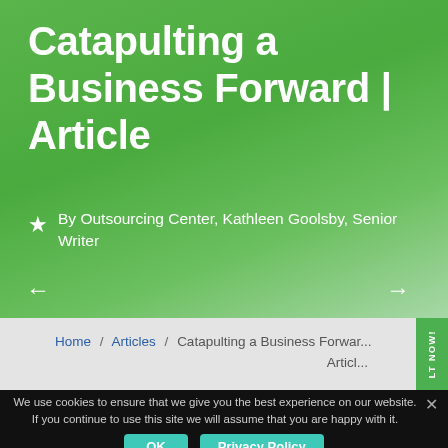Catapulting a Business Forward | Article
By Outsourcing Center, Kathleen Goolsby, Senior Writer
← →
Home / Articles / Catapulting a Business Forward | Article
We use cookies to ensure that we give you the best experience on our website. If you continue to use this site we will assume that you are happy with it.
OK   Privacy Policy